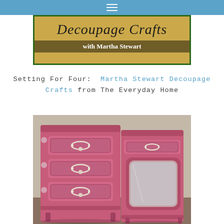≡
[Figure (illustration): Decoupage Crafts with Martha Stewart banner with green border, yellow/golden background with cursive script title and subtitle in white bold text]
Setting For Four:  Martha Stewart Decoupage Crafts from The Everyday Home
[Figure (photo): Pink French provincial dresser/vanity set with ornate silver hardware and drawer pulls, mirror attached on right side, photographed in a home setting]